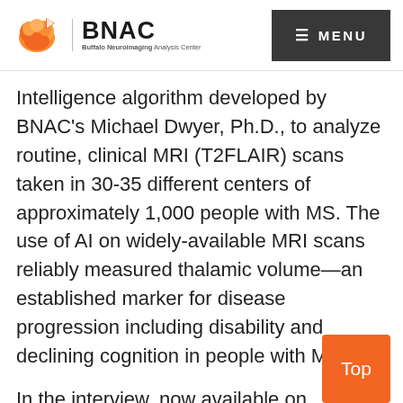BNAC — Buffalo Neuroimaging Analysis Center | MENU
Intelligence algorithm developed by BNAC's Michael Dwyer, Ph.D., to analyze routine, clinical MRI (T2FLAIR) scans taken in 30-35 different centers of approximately 1,000 people with MS. The use of AI on widely-available MRI scans reliably measured thalamic volume—an established marker for disease progression including disability and declining cognition in people with MS.
In the interview, now available on NeurologyLive®, Zivadinov notes that, is important because  it is now possible to